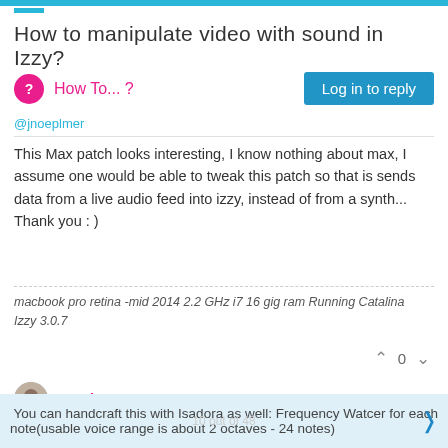How to manipulate video with sound in Izzy?
How To... ?
@jnoeplmer
This Max patch looks interesting, I know nothing about max, I assume one would be able to tweak this patch so that is sends data from a live audio feed into izzy, instead of from a synth... Thank you : )
macbook pro retina -mid 2014 2.2 GHz i7 16 gig ram Running Catalina
Izzy 3.0.7
vanakaru
Feb 12, 2016, 6:32 AM
Try WIDI it does it "out of the box". Just choose MIDI output "Isadora..."
You can handcraft this with Isadora as well: Frequency Watcer for each note(usable voice range is about 2 octaves - 24 notes)